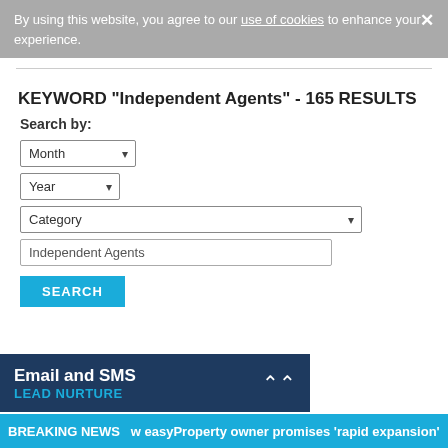By using this website, you agree to our use of cookies to enhance your experience.
KEYWORD "Independent Agents" - 165 RESULTS
Search by:
[Figure (screenshot): Month dropdown selector]
[Figure (screenshot): Year dropdown selector]
[Figure (screenshot): Category dropdown selector]
Independent Agents
SEARCH
Email and SMS LEAD NURTURE
BREAKING NEWS  w easyProperty owner promises 'rapid expansion'